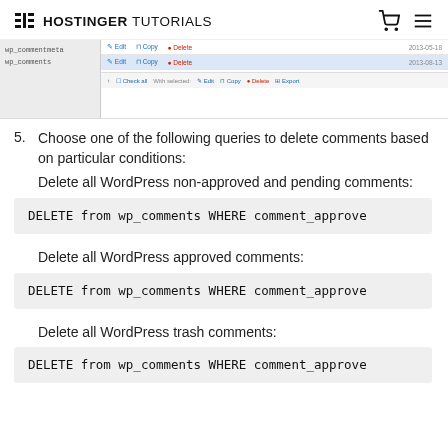HOSTINGER TUTORIALS
[Figure (screenshot): Screenshot of a database table in phpMyAdmin showing rows with Edit, Copy, Delete actions and dates (2013-05-18, 2013-08-13), plus a footer row with Check all, With selected, Edit, Copy, Delete, Export options.]
5. Choose one of the following queries to delete comments based on particular conditions:
Delete all WordPress non-approved and pending comments:
DELETE from wp_comments WHERE comment_approve
Delete all WordPress approved comments:
DELETE from wp_comments WHERE comment_approve
Delete all WordPress trash comments:
DELETE from wp_comments WHERE comment_approve